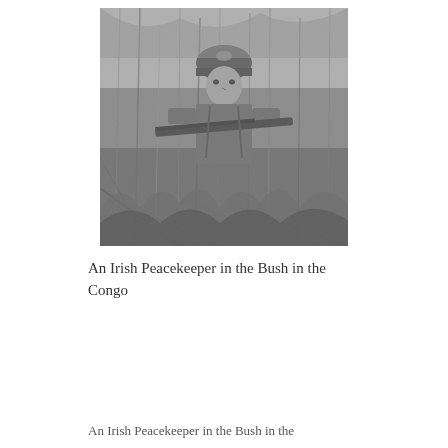[Figure (photo): Black and white photograph of an Irish Peacekeeper soldier in military uniform and helmet, holding a rifle, standing in dense bush/tall grass vegetation in the Congo.]
An Irish Peacekeeper in the Bush in the Congo
An Irish Peacekeeper in the Bush in the Congo